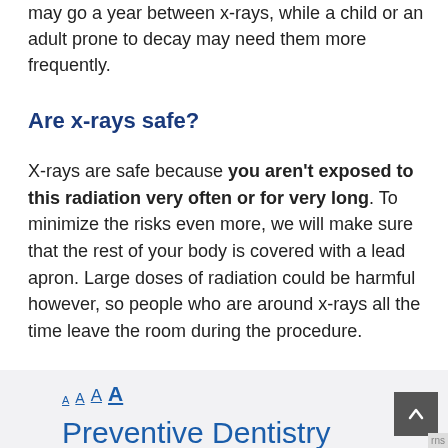may go a year between x-rays, while a child or an adult prone to decay may need them more frequently.
Are x-rays safe?
X-rays are safe because you aren't exposed to this radiation very often or for very long. To minimize the risks even more, we will make sure that the rest of your body is covered with a lead apron. Large doses of radiation could be harmful however, so people who are around x-rays all the time leave the room during the procedure.
[Figure (screenshot): Preview box showing font size selector (A A A A underlined in blue) and the title 'Preventive Dentistry' in blue text, with a scroll-up button in the bottom right corner.]